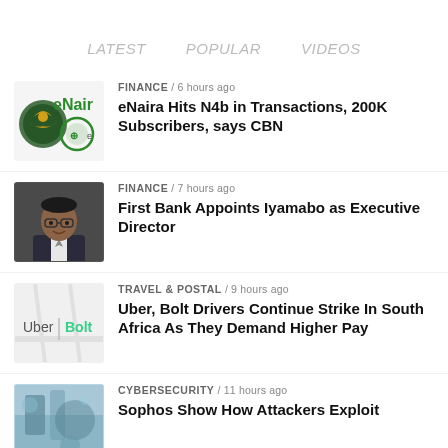LATEST   POPULAR   VIDEOS
[Figure (logo): eNaira and CBN logo composite thumbnail]
FINANCE / 6 hours ago
eNaira Hits N4b in Transactions, 200K Subscribers, says CBN
[Figure (photo): Portrait photo of a man in a suit wearing glasses]
FINANCE / 7 hours ago
First Bank Appoints Iyamabo as Executive Director
[Figure (logo): Uber and Bolt logos on light background]
TRAVEL & POSTAL / 9 hours ago
Uber, Bolt Drivers Continue Strike In South Africa As They Demand Higher Pay
[Figure (photo): Cybersecurity themed photo - partial view]
CYBERSECURITY / 11 hours ago
Sophos Show How Attackers Exploit